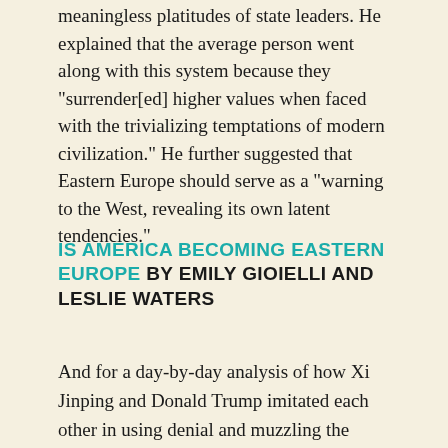meaningless platitudes of state leaders. He explained that the average person went along with this system because they "surrender[ed] higher values when faced with the trivializing temptations of modern civilization." He further suggested that Eastern Europe should serve as a "warning to the West, revealing its own latent tendencies."
IS AMERICA BECOMING EASTERN EUROPE BY EMILY GIOIELLI AND LESLIE WATERS
And for a day-by-day analysis of how Xi Jinping and Donald Trump imitated each other in using denial and muzzling the press to squander valuable time to prevent disease. The New Republic has them on the cover with